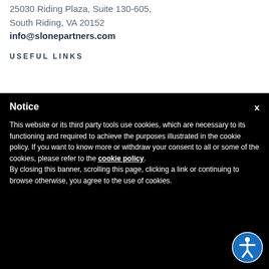25030 Riding Plaza, Suite 130-605, South Riding, VA 20152
info@slonepartners.com
USEFUL LINKS
Notice
This website or its third party tools use cookies, which are necessary to its functioning and required to achieve the purposes illustrated in the cookie policy. If you want to know more or withdraw your consent to all or some of the cookies, please refer to the cookie policy. By closing this banner, scrolling this page, clicking a link or continuing to browse otherwise, you agree to the use of cookies.